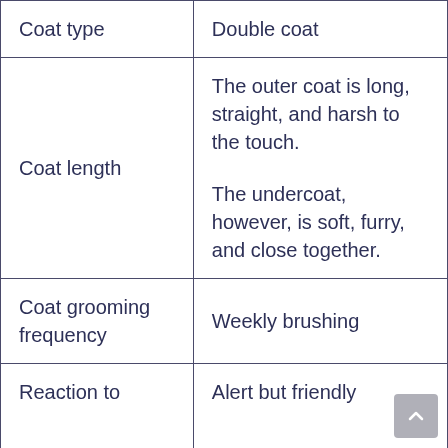| Coat type | Double coat |
| Coat length | The outer coat is long, straight, and harsh to the touch.

The undercoat, however, is soft, furry, and close together. |
| Coat grooming frequency | Weekly brushing |
| Reaction to | Alert but friendly |